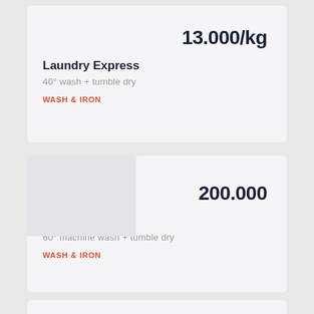13.000/kg
Laundry Express
40° wash + tumble dry
WASH & IRON
200.000
Cuci Springbed
60° machine wash + tumble dry
WASH & IRON